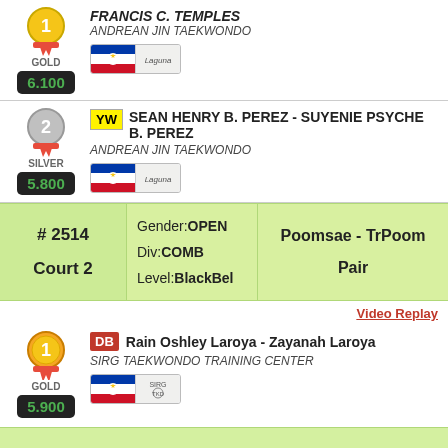[Figure (other): Gold medal with GOLD label and score 6.100, FRANCIS C. TEMPLES, ANDREAN JIN TAEKWONDO, Philippines flag badge]
[Figure (other): Silver medal #2 with SILVER label and score 5.800, YW badge, SEAN HENRY B. PEREZ - SUYENIE PSYCHE B. PEREZ, ANDREAN JIN TAEKWONDO, Philippines flag badge]
| # | Gender/Div/Level | Event |
| --- | --- | --- |
| # 2514
Court 2 | Gender:OPEN
Div:COMB
Level:BlackBel | Poomsae - TrPoom
Pair |
Video Replay
[Figure (other): Gold medal #1 with GOLD label and score 5.900, DB badge, Rain Oshley Laroya - Zayanah Laroya, SIRG TAEKWONDO TRAINING CENTER, Philippines flag badge]